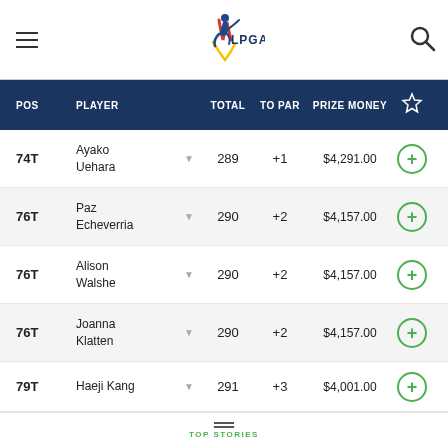LPGA
| POS | PLAYER |  | TOTAL | TO PAR | PRIZE MONEY |  |
| --- | --- | --- | --- | --- | --- | --- |
| 74T | Ayako Uehara |  | 289 | +1 | $4,291.00 | + |
| 76T | Paz Echeverria |  | 290 | +2 | $4,157.00 | + |
| 76T | Alison Walshe |  | 290 | +2 | $4,157.00 | + |
| 76T | Joanna Klatten |  | 290 | +2 | $4,157.00 | + |
| 79T | Haeji Kang |  | 291 | +3 | $4,001.00 | + |
| 79T | Ashleigh Simon |  | 291 | +3 | $4,001.00 | + |
| 79T | Jennifer Kirby |  | 291 | +3 | $4,001.00 | + |
| 82T | Katie |  | 292 | +4 | $3,874.00 | + |
TOP STORIES